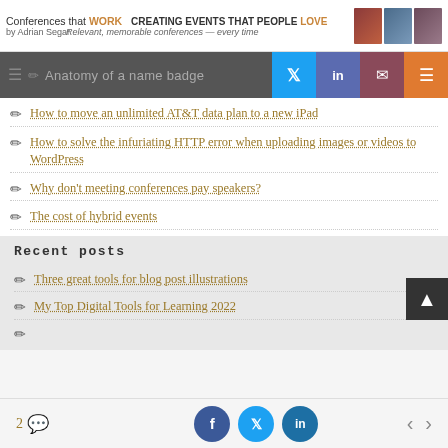Conferences that WORK | CREATING EVENTS THAT PEOPLE LOVE | by Adrian Segar | Relevant, memorable conferences — every time
Anatomy of a name badge
How to move an unlimited AT&T data plan to a new iPad
How to solve the infuriating HTTP error when uploading images or videos to WordPress
Why don't meeting conferences pay speakers?
The cost of hybrid events
Recent posts
Three great tools for blog post illustrations
My Top Digital Tools for Learning 2022
2 comments | Share on Facebook, Twitter, LinkedIn | Navigation arrows